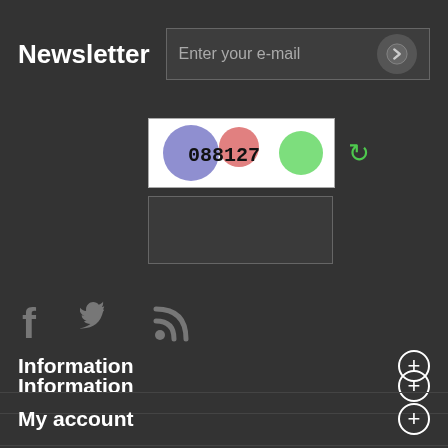Newsletter
Enter your e-mail
[Figure (screenshot): CAPTCHA image with colored circles (blue and red/pink on left, green on right) and text '088127', with a refresh button]
[Figure (screenshot): Empty CAPTCHA text input field]
[Figure (infographic): Social media icons: Facebook (f), Twitter (bird), RSS feed]
Information
My account
Store Information